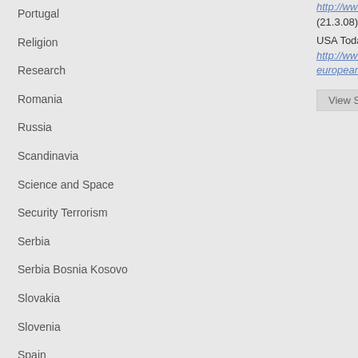http://www.eu2008.si/en/News_and_Documents/P.../March/0321MZZbulgaria.html (21.3.08)
USA Today. "European Parliament Turns 50 today" http://www.usatoday.com/news/world/2008-03-11-european_parliament_N.htm#us/PageReturn (12.3.08)
View Similar Articles
Portugal
Religion
Research
Romania
Russia
Scandinavia
Science and Space
Security Terrorism
Serbia
Serbia Bosnia Kosovo
Slovakia
Slovenia
Spain
Sports
Subscribers
ABARE
Agforce
Agforceqld2
Agribusiness
Agriwest
Anhealthall